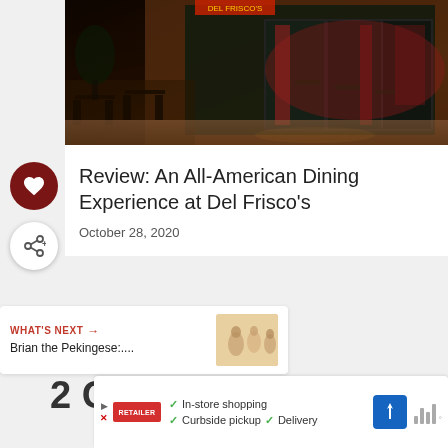[Figure (photo): Nighttime exterior photo of Del Frisco's restaurant showing outdoor seating area with dark chairs and tables, large glass windows and doors with red interior decor visible inside]
Review: An All-American Dining Experience at Del Frisco's
October 28, 2020
[Figure (illustration): Dark red circular like/heart button]
[Figure (illustration): White circular share button with share icon]
WHAT'S NEXT → Brian the Pekingese:....
2 Comments